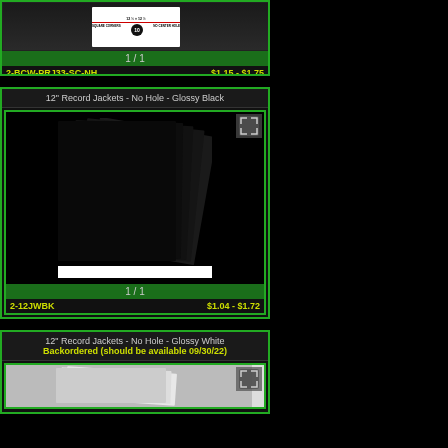[Figure (photo): Partial product image of 12" record jacket package visible at top]
1 / 1
2-BCW-PRJ33-SC-NH    $1.15 - $1.75
12" Record Jackets - No Hole - Glossy Black
[Figure (photo): Stack of glossy black 12-inch record jackets fanned out on white background]
1 / 1
2-12JWBK    $1.04 - $1.72
12" Record Jackets - No Hole - Glossy White
Backordered (should be available 09/30/22)
[Figure (photo): Partial image of white record jackets at bottom of page]